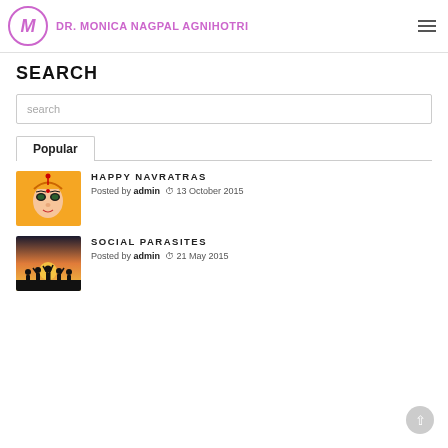DR. MONICA NAGPAL AGNIHOTRI
SEARCH
search
Popular
[Figure (illustration): Orange illustration of goddess Durga face with decorative elements on orange background]
HAPPY NAVRATRAS
Posted by admin  13 October 2015
[Figure (photo): Silhouette of group of people with raised arms against sunset sky]
SOCIAL PARASITES
Posted by admin  21 May 2015